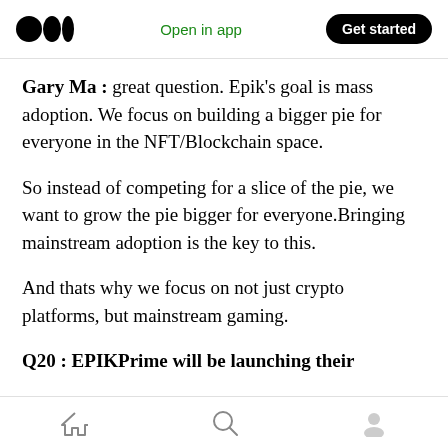Open in app | Get started
Gary Ma : great question. Epik's goal is mass adoption. We focus on building a bigger pie for everyone in the NFT/Blockchain space.
So instead of competing for a slice of the pie, we want to grow the pie bigger for everyone.Bringing mainstream adoption is the key to this.
And thats why we focus on not just crypto platforms, but mainstream gaming.
Q20 : EPIKPrime will be launching their
Home | Search | Profile